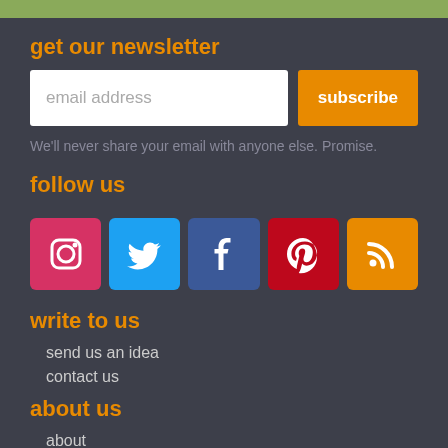get our newsletter
[Figure (other): Email input field with placeholder 'email address' and orange subscribe button]
We'll never share your email with anyone else. Promise.
follow us
[Figure (other): Social media icons: Instagram, Twitter, Facebook, Pinterest, RSS]
write to us
send us an idea
contact us
about us
about
faq